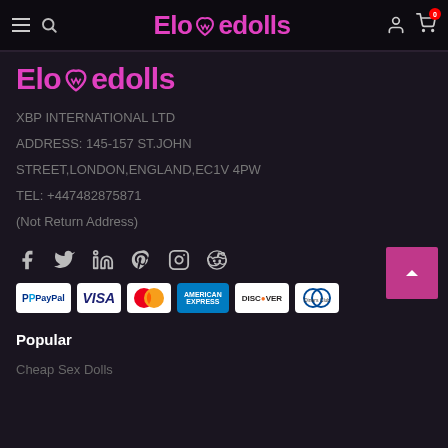Elovedolls — navigation bar with hamburger menu, search icon, logo, user icon, and cart (0)
Elovedolls
XBP INTERNATIONAL LTD
ADDRESS: 145-157 ST.JOHN
STREET,LONDON,ENGLAND,EC1V 4PW
TEL: +447482875871
(Not Return Address)
[Figure (infographic): Social media icons: Facebook, Twitter, LinkedIn, Pinterest, Instagram, Reddit]
[Figure (infographic): Payment method icons: PayPal, VISA, Mastercard, American Express, Discover, Diners Club]
Popular
Cheap Sex Dolls